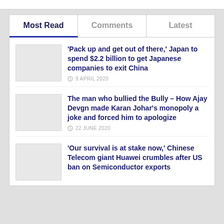Most Read | Comments | Latest
'Pack up and get out of there,' Japan to spend $2.2 billion to get Japanese companies to exit China — 9 APRIL 2020
The man who bullied the Bully – How Ajay Devgn made Karan Johar's monopoly a joke and forced him to apologize — 22 JUNE 2020
'Our survival is at stake now,' Chinese Telecom giant Huawei crumbles after US ban on Semiconductor exports